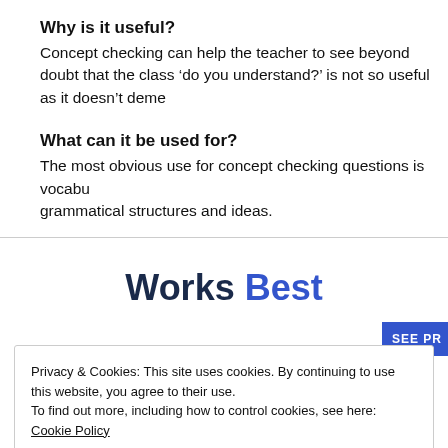Why is it useful?
Concept checking can help the teacher to see beyond doubt that the class ‘do you understand?’ is not so useful as it doesn’t deme...
What can it be used for?
The most obvious use for concept checking questions is vocabu... grammatical structures and ideas.
Works Best
SEE PR
Privacy & Cookies: This site uses cookies. By continuing to use this website, you agree to their use.
To find out more, including how to control cookies, see here: Cookie Policy
Close and accept